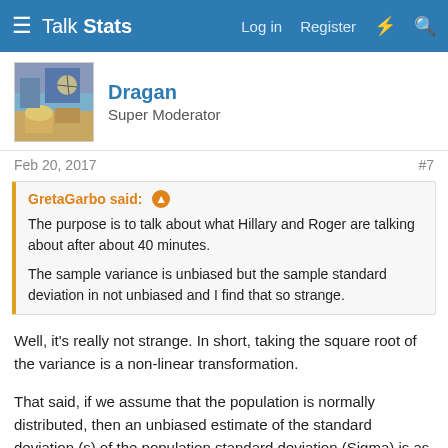Talk Stats — Log in  Register
Dragan
Super Moderator
Feb 20, 2017	#7
GretaGarbo said:
The purpose is to talk about what Hillary and Roger are talking about after about 40 minutes.
The sample variance is unbiased but the sample standard deviation in not unbiased and I find that so strange.
Well, it's really not strange. In short, taking the square root of the variance is a non-linear transformation.
That said, if we assume that the population is normally distributed, then an unbiased estimate of the standard deviation (s) of the population standard deviation (Sigma) is as follows: